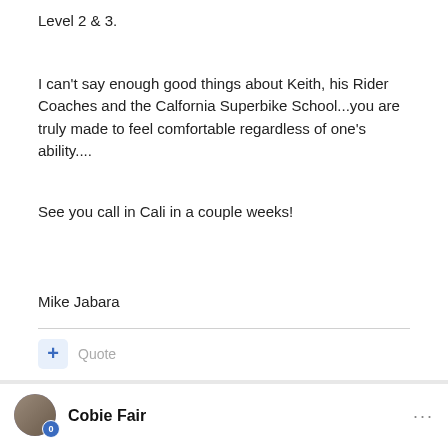Level 2 & 3.
I can't say enough good things about Keith, his Rider Coaches and the Calfornia Superbike School...you are truly made to feel comfortable regardless of one's ability....
See you call in Cali in a couple weeks!
Mike Jabara
Quote
Cobie Fair